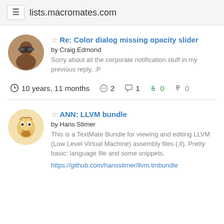lists.macromates.com
Re: Color dialog missing opacity slider
by Craig Edmond
Sorry about all the corporate notification stuff in my previous reply. :P
10 years, 11 months  2  1  0  0
ANN: LLVM bundle
by Hans Stimer
This is a TextMate Bundle for viewing and editing LLVM (Low Level Virtual Machine) assembly files (.ll). Pretty basic: language file and some snippets.
https://github.com/hansstimer/llvm.tmbundle